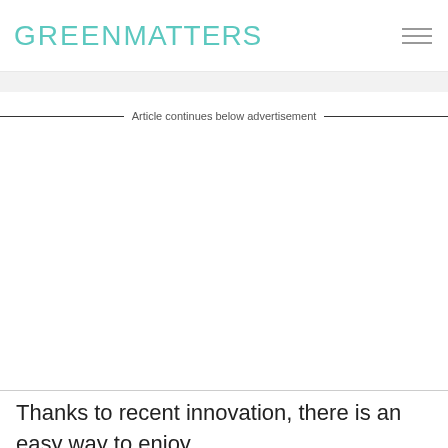GREENMATTERS
Article continues below advertisement
Thanks to recent innovation, there is an easy way to enjoy